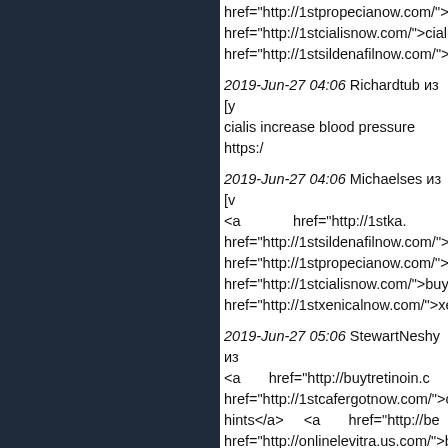href="http://1stpropecianow.com/">p href="http://1stcialisnow.com/">cialis href="http://1stsildenafilnow.com/">s
2019-Jun-27 04:06 Richardtub из [у cialis increase blood pressure https:/
2019-Jun-27 04:06 Michaelses из [v <a href="http://1stka. href="http://1stsildenafilnow.com/">s href="http://1stpropecianow.com/">b href="http://1stcialisnow.com/">buy href="http://1stxenicalnow.com/">xer
2019-Jun-27 05:06 StewartNeshy из <a href="http://buytretinoin.c href="http://1stcafergotnow.com/">ca hints</a> <a href="http://be href="http://onlinelevitra.us.com/">bu href="http://buspar.team/">buspar</a
2019-Jun-27 09:06 Aaronmep из [ma http://buytoprolxl.team/ - buy toprol
2019-Jun-27 14:06 CharlesJunty из